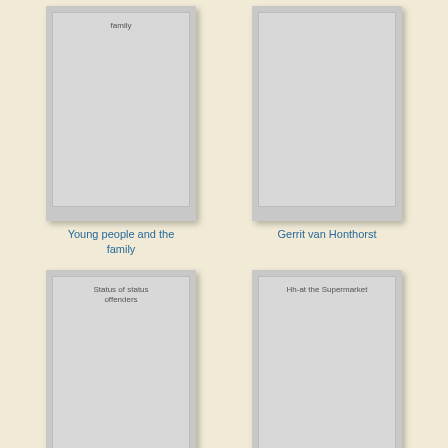[Figure (illustration): Book cover thumbnail for 'Young people and the family', gray placeholder cover with title text visible]
Young people and the family
[Figure (illustration): Book cover thumbnail for 'Gerrit van Honthorst', gray placeholder cover with no visible title text]
Gerrit van Honthorst
[Figure (illustration): Book cover thumbnail for 'Status of status offenders', gray placeholder cover with title text visible]
Status of status offenders
[Figure (illustration): Book cover thumbnail for 'Hh-at the Supermarket', gray placeholder cover with title text visible]
Hh-at the Supermarket